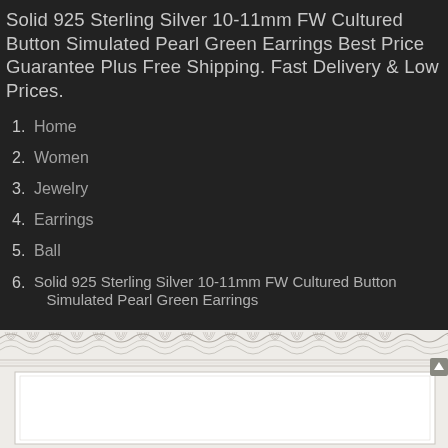Solid 925 Sterling Silver 10-11mm FW Cultured Button Simulated Pearl Green Earrings Best Price Guarantee Plus Free Shipping. Fast Delivery & Low Prices.
1. Home
2. Women
3. Jewelry
4. Earrings
5. Ball
6. Solid 925 Sterling Silver 10-11mm FW Cultured Button Simulated Pearl Green Earrings
[Figure (illustration): Decorative guilloche border pattern at the bottom of the page with scroll-to-top button on right side]